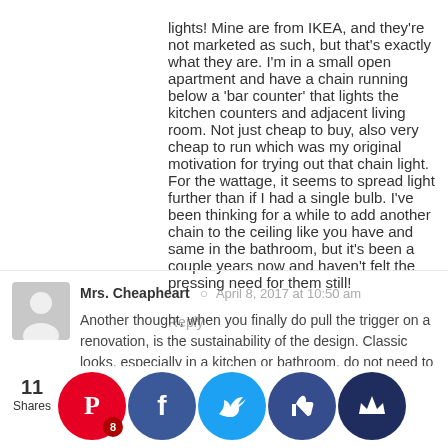lights! Mine are from IKEA, and they're not marketed as such, but that's exactly what they are. I'm in a small open apartment and have a chain running below a 'bar counter' that lights the kitchen counters and adjacent living room. Not just cheap to buy, also very cheap to run which was my original motivation for trying out that chain light. For the wattage, it seems to spread light further than if I had a single bulb. I've been thinking for a while to add another chain to the ceiling like you have and same in the bathroom, but it's been a couple years now and haven't felt the pressing need for them still!
Reply
Mrs. Cheapheart  ·  April 8, 2017 at 10:50 am
Another thought, when you finally do pull the trigger on a renovation, is the sustainability of the design. Classic looks, especially in a kitchen or bathroom, do not need to be remodeled ten years later. Classic white bathrooms never go out of style and you can always accessorize. If you see anything "stylish" at a big box store, just back up and walk away, it is t... se it h... dy jun... shar...